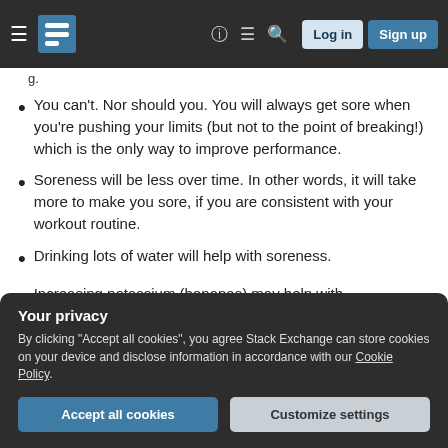Navigation bar with Stack Exchange logo, Log in, Sign up buttons
g.
You can't. Nor should you. You will always get sore when you're pushing your limits (but not to the point of breaking!) which is the only way to improve performance.
Soreness will be less over time. In other words, it will take more to make you sore, if you are consistent with your workout routine.
Drinking lots of water will help with soreness.
Increasing potassium (bananas) may help with
Your privacy
By clicking "Accept all cookies", you agree Stack Exchange can store cookies on your device and disclose information in accordance with our Cookie Policy.
Accept all cookies   Customize settings